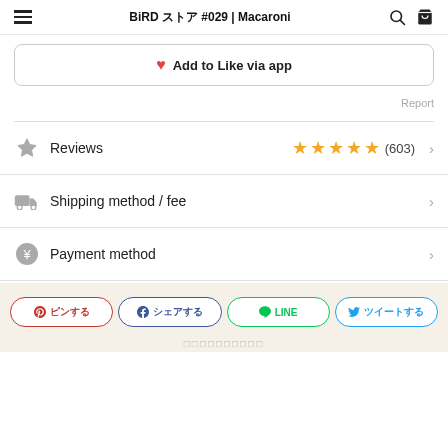BiRD ストア #029 | Macaroni
♥ Add to Like via app
Report
Reviews  ★★★★★ (603)
Shipping method / fee
Payment method
ピンする　シェアする　LINE　ツイート
□□□□□□□□□□